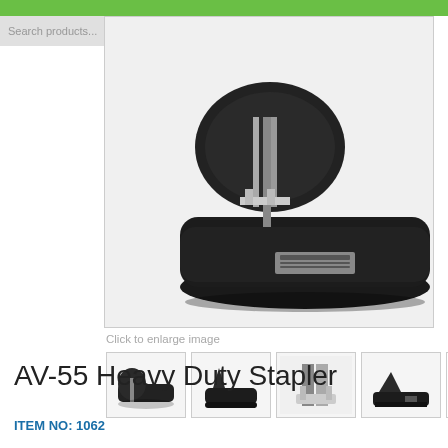[Figure (screenshot): E-commerce product page screenshot showing a close-up photo of a black heavy duty stapler (AV-55) as the main image, with a search bar at the top left, a green navigation bar, and five thumbnail images below the main image including four stapler views and a 15-year guarantee badge.]
Click to enlarge image
AV-55 Heavy Duty Stapler
ITEM NO: 1062